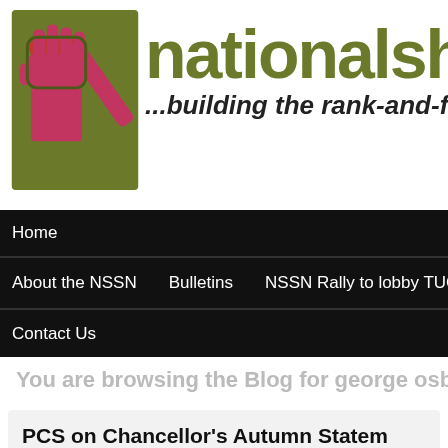[Figure (logo): nationalshop logo with fist icon and tagline '...building the rank-and-file si']
Home | About the NSSN | Bulletins | NSSN Rally to lobby TUC Congress | Contact Us
You are browsing the Blog for george osborn
PCS on Chancellor's Autumn Statem
December 5, 2013 in News